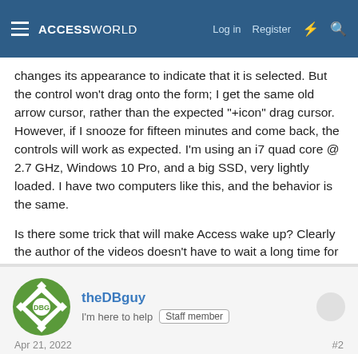ACCESSWORLD  Log in  Register
changes its appearance to indicate that it is selected. But the control won't drag onto the form; I get the same old arrow cursor, rather than the expected "+icon" drag cursor. However, if I snooze for fifteen minutes and come back, the controls will work as expected. I'm using an i7 quad core @ 2.7 GHz, Windows 10 Pro, and a big SSD, very lightly loaded. I have two computers like this, and the behavior is the same.
Is there some trick that will make Access wake up? Clearly the author of the videos doesn't have to wait a long time for their system to start up.
Thanks for your help.
theDBguy
I'm here to help  Staff member
Apr 21, 2022  #2